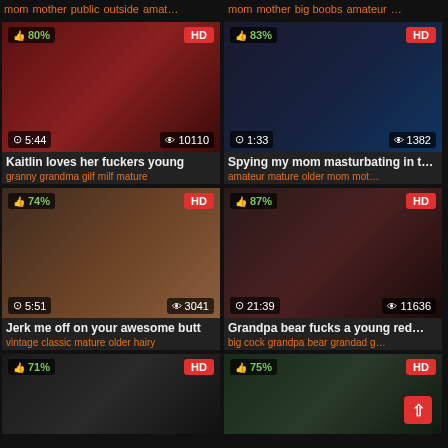mom mother public outside amat...
mom mother big boobs amateur ...
[Figure (screenshot): Video thumbnail 1: 80% like, HD, 5:44, 10110 views]
Kaitlin loves her fuckers young
granny grandma gilf milf mature
[Figure (screenshot): Video thumbnail 2: 83% like, HD, 1:33, 1382 views]
Spying my mom masturbating in t...
amateur mature older mom mot...
[Figure (screenshot): Video thumbnail 3: 74% like, HD, 5:51, 3041 views]
Jerk me off on your awesome butt
vintage classic mature older hairy
[Figure (screenshot): Video thumbnail 4: 87% like, HD, 21:39, 11636 views]
Grandpa bear fucks a young red...
big cock grandpa bear grandad g...
[Figure (screenshot): Video thumbnail 5: 71% like, HD, partial view]
[Figure (screenshot): Video thumbnail 6: 75% like, HD, partial view]